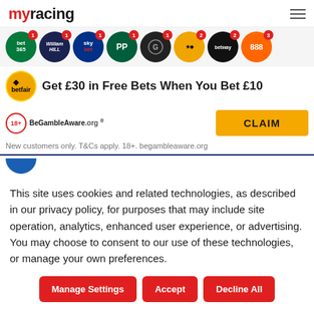myracing
[Figure (screenshot): Row of bookmaker logos: bet365, William Hill, Sky Bet, PP (Paddy Power), Grosvenor, Betfair, Betway, 888, each with red notification badges]
Get £30 in Free Bets When You Bet £10
[Figure (logo): BeGambleAware.org logo with 18+ circle]
CLAIM
New customers only. T&Cs apply. 18+. begambleaware.org
This site uses cookies and related technologies, as described in our privacy policy, for purposes that may include site operation, analytics, enhanced user experience, or advertising. You may choose to consent to our use of these technologies, or manage your own preferences.
Manage Settings
Accept
Decline All